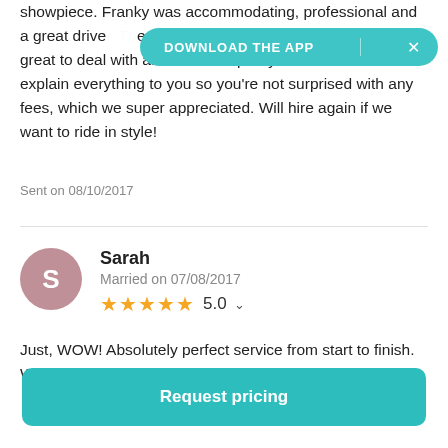showpiece. Franky was accommodating, professional and a great drive... e was super smooth! Dan, the owner, was great to deal with and cost was pretty reasonable. Dan will explain everything to you so you're not surprised with any fees, which we super appreciated. Will hire again if we want to ride in style!
[Figure (screenshot): DOWNLOAD THE APP banner with teal rounded rectangle and X close button]
Sent on 08/10/2017
Sarah
Married on 07/08/2017
★★★★★ 5.0
Just, WOW! Absolutely perfect service from start to finish. We knew that we wanted something special for our
Request pricing